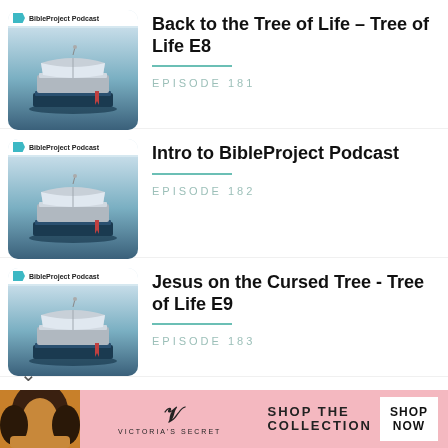[Figure (screenshot): Podcast thumbnail for BibleProject Podcast showing stacked open books illustration]
Back to the Tree of Life – Tree of Life E8
EPISODE 181
[Figure (screenshot): Podcast thumbnail for BibleProject Podcast showing stacked open books illustration]
Intro to BibleProject Podcast
EPISODE 182
[Figure (screenshot): Podcast thumbnail for BibleProject Podcast showing stacked open books illustration]
Jesus on the Cursed Tree - Tree of Life E9
EPISODE 183
[Figure (photo): Victoria's Secret advertisement banner with model and shop the collection text]